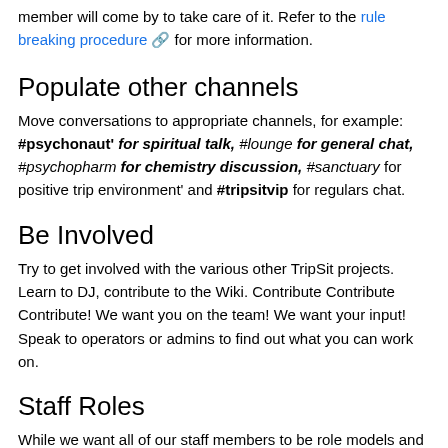member will come by to take care of it. Refer to the rule breaking procedure for more information.
Populate other channels
#psychonaut' for spiritual talk, #lounge for general chat, #psychopharm for chemistry discussion, #sanctuary for positive trip environment' and #tripsitvip for regulars chat.
Be Involved
Try to get involved with the various other TripSit projects. Learn to DJ, contribute to the Wiki. Contribute Contribute Contribute! We want you on the team! We want your input! Speak to operators or admins to find out what you can work on.
Staff Roles
While we want all of our staff members to be role models and